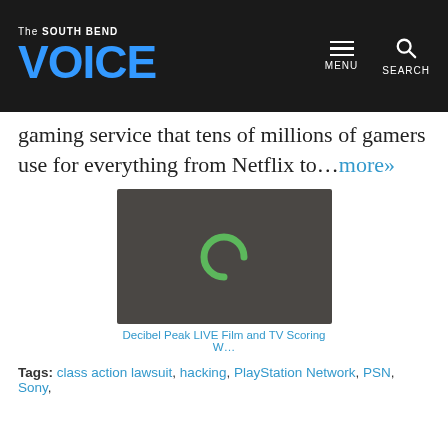The South Bend VOICE
gaming service that tens of millions of gamers use for everything from Netflix to…more»
[Figure (screenshot): Dark background video thumbnail with a green circular loading/logo icon in the center]
Decibel Peak LIVE Film and TV Scoring W…
Tags: class action lawsuit, hacking, PlayStation Network, PSN, Sony,